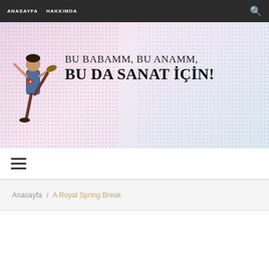ANASAYFA   HAKKIMDA
[Figure (illustration): Banner image with a kicking figure on the left and bold Turkish text reading 'BU BABAMM, BU ANAMM, BU DA SANAT İÇİN!' on a dotted/halftone background]
≡
Anasayfa / A Royal Spring Break